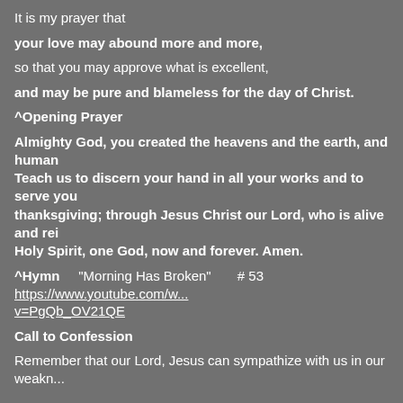It is my prayer that
your love may abound more and more,
so that you may approve what is excellent,
and may be pure and blameless for the day of Christ.
^Opening Prayer
Almighty God, you created the heavens and the earth, and huma. Teach us to discern your hand in all your works and to serve you thanksgiving; through Jesus Christ our Lord, who is alive and rei Holy Spirit, one God, now and forever. Amen.
^Hymn    “Morning Has Broken”       # 53  https://www.youtube.com/w... v=PgQb_OV21QE
Call to Confession
Remember that our Lord, Jesus can sympathize with us in our weakn...